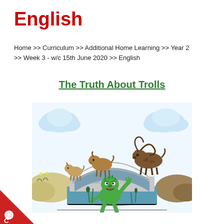English
Home >> Curriculum >> Additional Home Learning >> Year 2 >> Week 3 - w/c 15th June 2020 >> English
The Truth About Trolls
[Figure (illustration): Illustration of three billy goats on a stone bridge with a green troll underneath in the water below, referencing the Three Billy Goats Gruff fairy tale. Two smaller brown goats are on the left side of the bridge and a larger goat with long horns is on the right. A green troll creature is beneath the bridge arch in the water.]